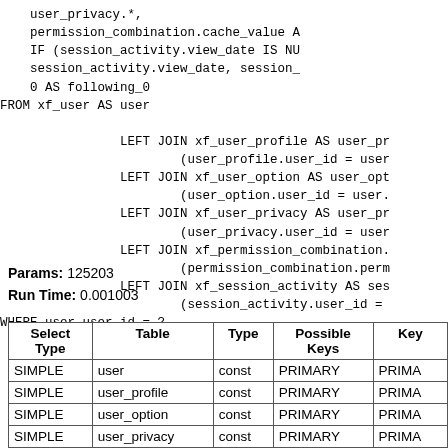user_privacy.*,
    permission_combination.cache_value A
    IF (session_activity.view_date IS N
    session_activity.view_date, session_
    0 AS following_0
FROM xf_user AS user

                LEFT JOIN xf_user_profile AS user_p
                        (user_profile.user_id = use
                LEFT JOIN xf_user_option AS user_op
                        (user_option.user_id = user
                LEFT JOIN xf_user_privacy AS user_p
                        (user_privacy.user_id = use
                LEFT JOIN xf_permission_combination
                        (permission_combination.per
                LEFT JOIN xf_session_activity AS se
                        (session_activity.user_id =
WHERE user.user_id = ?
Params: 125203
Run Time: 0.001003
| Select Type | Table | Type | Possible Keys | Key |
| --- | --- | --- | --- | --- |
| SIMPLE | user | const | PRIMARY | PRIMA |
| SIMPLE | user_profile | const | PRIMARY | PRIMA |
| SIMPLE | user_option | const | PRIMARY | PRIMA |
| SIMPLE | user_privacy | const | PRIMARY | PRIMA |